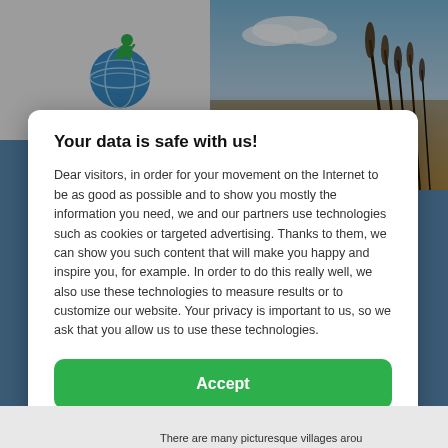[Figure (screenshot): Website background showing a logo area on the left with a travel/geography website logo, and a nature photo on the right with sky, reeds/grass against a sunset.]
Your data is safe with us!
Dear visitors, in order for your movement on the Internet to be as good as possible and to show you mostly the information you need, we and our partners use technologies such as cookies or targeted advertising. Thanks to them, we can show you such content that will make you happy and inspire you, for example. In order to do this really well, we also use these technologies to measure results or to customize our website. Your privacy is important to us, so we ask that you allow us to use these technologies.
Accept
Deny
Set
There are many picturesque villages arou